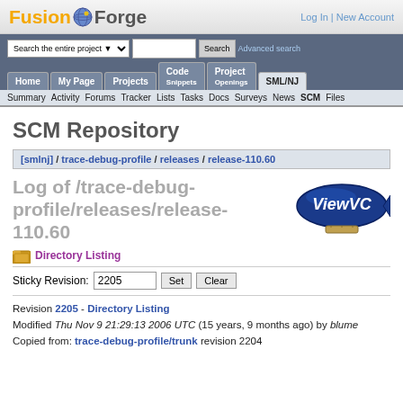FusionForge — Log In | New Account
[Figure (logo): FusionForge logo with globe icon]
Log In | New Account
Search the entire project ▼  [search box]  Search  Advanced search
Home  My Page  Projects  Code Snippets  Project Openings  SML/NJ
Summary  Activity  Forums  Tracker  Lists  Tasks  Docs  Surveys  News  SCM  Files
SCM Repository
[smlnj] / trace-debug-profile / releases / release-110.60
Log of /trace-debug-profile/releases/release-110.60
Directory Listing
Sticky Revision: 2205  Set  Clear
Revision 2205 - Directory Listing
Modified Thu Nov 9 21:29:13 2006 UTC (15 years, 9 months ago) by blume
Copied from: trace-debug-profile/trunk revision 2204